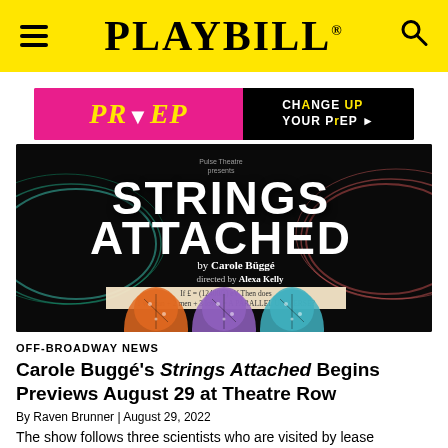PLAYBILL
[Figure (illustration): Ad banner for PrEP medication showing 'PrEP' in yellow italic font on magenta background, with 'CHANGE UP YOUR PrEP' text on black background with arrow]
[Figure (photo): Theatrical poster for 'Strings Attached' by Carole Buggé, directed by Alexa Kelly, showing three head silhouettes with neural network patterns on dark background with colorful wave patterns]
OFF-BROADWAY NEWS
Carole Buggé's Strings Attached Begins Previews August 29 at Theatre Row
By Raven Brunner | August 29, 2022
The show follows three scientists who are visited by lease...